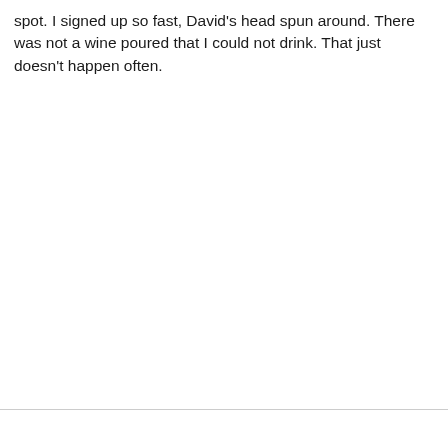spot. I signed up so fast, David's head spun around. There was not a wine poured that I could not drink. That just doesn't happen often.